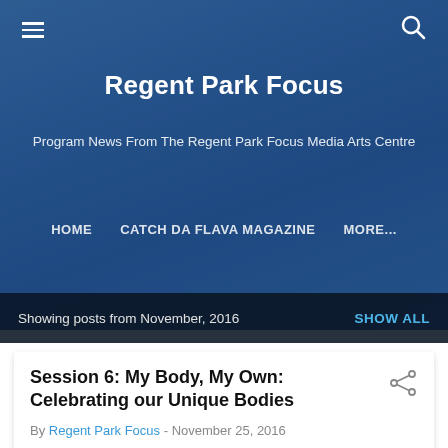Regent Park Focus
Program News From The Regent Park Focus Media Arts Centre
HOME   CATCH DA FLAVA MAGAZINE   MORE...
Showing posts from November, 2016   SHOW ALL
Session 6: My Body, My Own: Celebrating our Unique Bodies
By Regent Park Focus - November 25, 2016